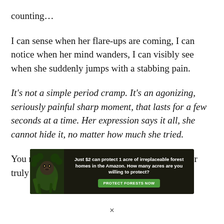counting…
I can sense when her flare-ups are coming, I can notice when her mind wanders, I can visibly see when she suddenly jumps with a stabbing pain.
It's not a simple period cramp. It's an agonizing, seriously painful sharp moment, that lasts for a few seconds at a time. Her expression says it all, she cannot hide it, no matter how much she tried.
You may notice bits and bobs, but you will never truly understand what she's going through.
[Figure (other): Advertisement banner: dark background with image of an animal in forest foliage. Text reads 'Just $2 can protect 1 acre of irreplaceable forest homes in the Amazon. How many acres are you willing to protect?' with a green button labeled 'PROTECT FORESTS NOW']
×